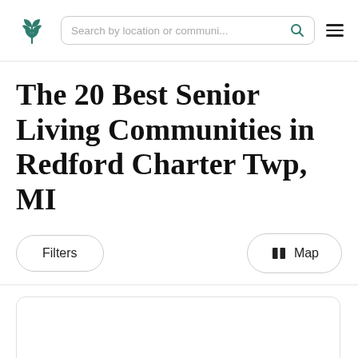Search by location or communi...
The 20 Best Senior Living Communities in Redford Charter Twp, MI
Filters
Map
[Figure (other): Blank white card placeholder area]